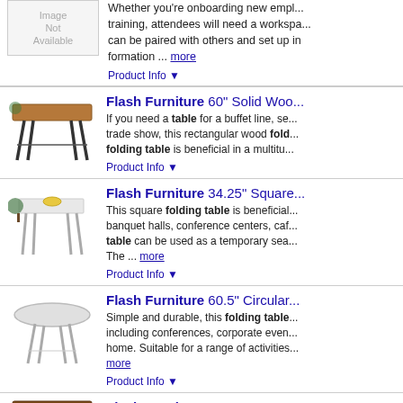[Figure (photo): Image Not Available placeholder box]
Whether you're onboarding new emp... training, attendees will need a workspace... can be paired with others and set up in formation ... more
Product Info ▼
[Figure (photo): Flash Furniture 60 inch solid wood folding table product photo]
Flash Furniture 60" Solid Woo...
If you need a table for a buffet line, se... trade show, this rectangular wood fold... folding table is beneficial in a multitu...
Product Info ▼
[Figure (photo): Flash Furniture 34.25 inch square folding table product photo]
Flash Furniture 34.25" Square...
This square folding table is beneficial... banquet halls, conference centers, caf... table can be used as a temporary sea... The ... more
Product Info ▼
[Figure (photo): Flash Furniture 60.5 inch circular folding table product photo]
Flash Furniture 60.5" Circular...
Simple and durable, this folding table... including conferences, corporate even... home. Suitable for a range of activities... more
Product Info ▼
[Figure (photo): Flash Furniture YT-2448-HIG folding table product photo]
Flash Furniture YT-2448-HIG...
The Folding Tables by Flash Furnitu...